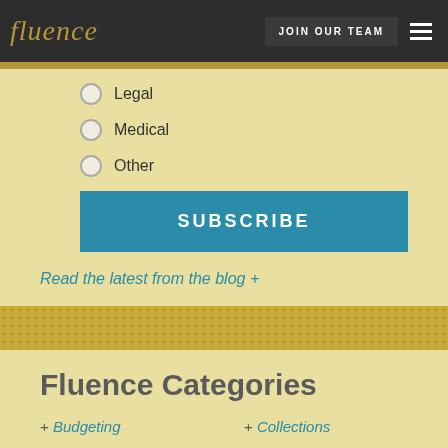fluence | JOIN OUR TEAM
Legal
Medical
Other
SUBSCRIBE
Read the latest from the blog +
Fluence Categories
+ Budgeting
+ Collections
+ Communication
+ Consulting
+ Dental Practice
+ Human Resources